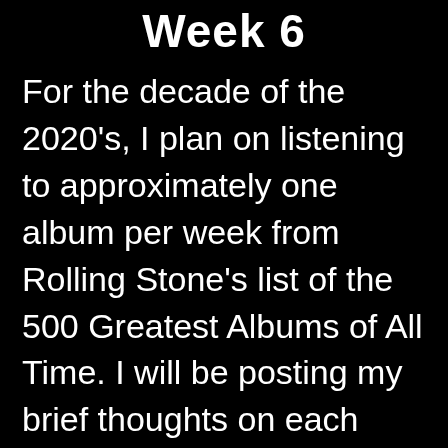Week 6
For the decade of the 2020's, I plan on listening to approximately one album per week from Rolling Stone's list of the 500 Greatest Albums of All Time. I will be posting my brief thoughts on each album here. #495 – Give It Up by Bonnie Raitt Although I'm not very far into this large list, I'm certainly …